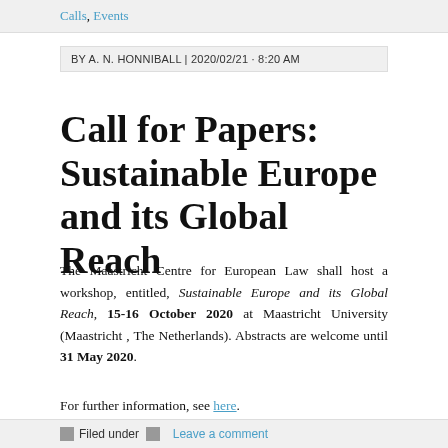Calls, Events
BY A. N. HONNIBALL | 2020/02/21 · 8:20 AM
Call for Papers: Sustainable Europe and its Global Reach
The Maastricht Centre for European Law shall host a workshop, entitled, Sustainable Europe and its Global Reach, 15-16 October 2020 at Maastricht University (Maastricht , The Netherlands). Abstracts are welcome until 31 May 2020.
For further information, see here.
Filed under   Leave a comment